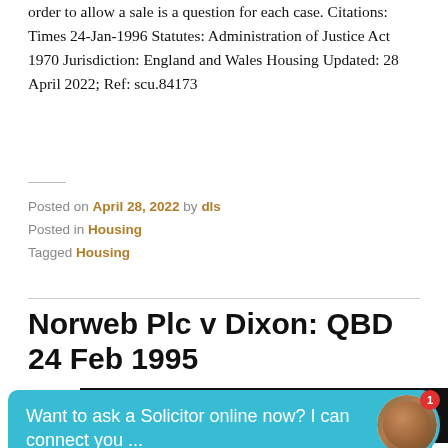order to allow a sale is a question for each case. Citations: Times 24-Jan-1996 Statutes: Administration of Justice Act 1970 Jurisdiction: England and Wales Housing Updated: 28 April 2022; Ref: scu.84173
Posted on April 28, 2022 by dls
Posted in Housing
Tagged Housing
Norweb Plc v Dixon: QBD 24 Feb 1995
[Figure (other): Advertisement banner for Pure Earth charity about global pollution, and a chat popup widget asking 'Want to ask a Solicitor online now? I can connect you ...' with a woman's avatar photo and a red notification badge showing '1'.]